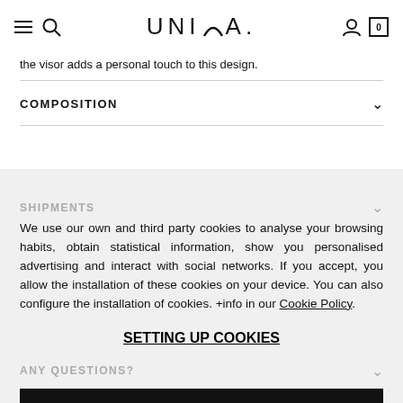UNISA
the visor adds a personal touch to this design.
COMPOSITION
SHIPMENTS
We use our own and third party cookies to analyse your browsing habits, obtain statistical information, show you personalised advertising and interact with social networks. If you accept, you allow the installation of these cookies on your device. You can also configure the installation of cookies. +info in our Cookie Policy.
SETTING UP COOKIES
ACCEPT AND CLOSE
ANY QUESTIONS?
SHARE